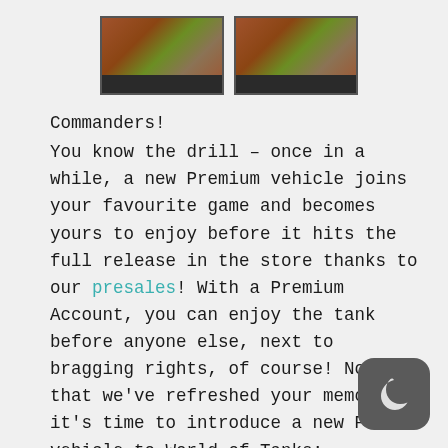[Figure (photo): Two partial photos at the top showing aerial/overhead views of what appear to be miniature game terrain boards with military vehicles]
Commanders!
You know the drill – once in a while, a new Premium vehicle joins your favourite game and becomes yours to enjoy before it hits the full release in the store thanks to our presales! With a Premium Account, you can enjoy the tank before anyone else, next to bragging rights, of course! Now that we've refreshed your memory, it's time to introduce a new Polish vehicle to World of Tanks:
Continue reading →